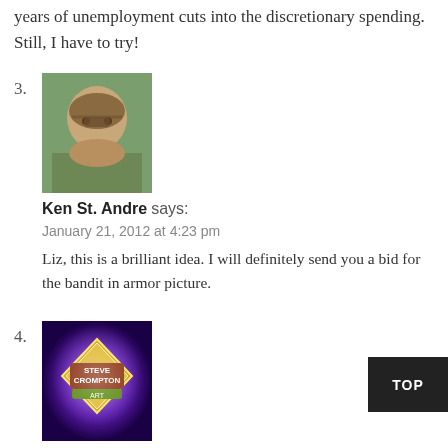years of unemployment cuts into the discretionary spending. Still, I have to try!
3. Ken St. Andre says:
January 21, 2012 at 4:23 pm
Liz, this is a brilliant idea. I will definitely send you a bid for the bandit in armor picture.
4. Steve Crompton says:
January 21, 2012 at 5:47 pm
I like that octopus – keep that one by all means!
For those of you who are fans of Liz's art, you're going to be in for a feast of her work in the French T&T. Some of it is brand and some of it is from the the old T&T Rules & Monsters Mo.
But we are also including additonal rare Liz art that has not been seen in decades – so it will be quite a collection! (There's a even a